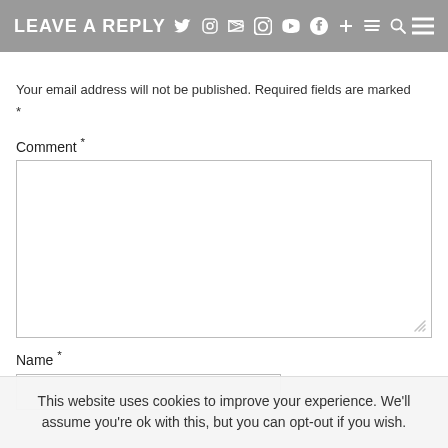LEAVE A REPLY
Your email address will not be published. Required fields are marked *
Comment *
Name *
This website uses cookies to improve your experience. We'll assume you're ok with this, but you can opt-out if you wish.